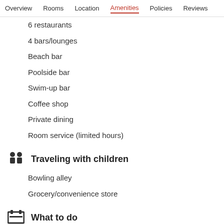Overview  Rooms  Location  Amenities  Policies  Reviews
6 restaurants
4 bars/lounges
Beach bar
Poolside bar
Swim-up bar
Coffee shop
Private dining
Room service (limited hours)
Traveling with children
Bowling alley
Grocery/convenience store
What to do
On a private beach
Yoga classes
Beach volleyball